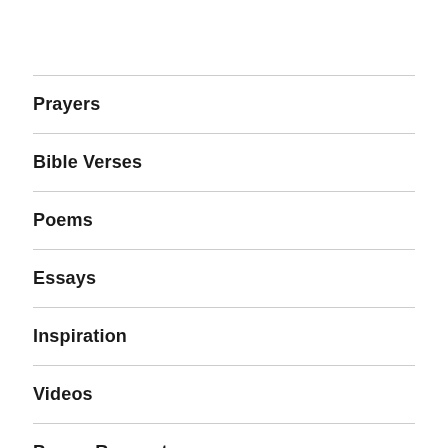Prayers
Bible Verses
Poems
Essays
Inspiration
Videos
Prayer Requests